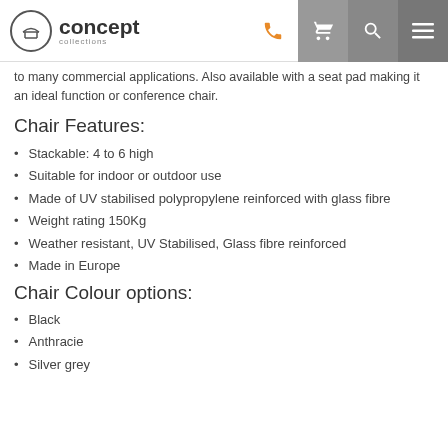concept collections [logo/nav]
is produced with a saline injection of polypropylene reinforced with glass fibre. Available in Orange, Green, Silver Grey and White th to many commercial applications. Also available with a seat pad making it an ideal function or conference chair.
Chair Features:
Stackable: 4 to 6 high
Suitable for indoor or outdoor use
Made of UV stabilised polypropylene reinforced with glass fibre
Weight rating 150Kg
Weather resistant, UV Stabilised, Glass fibre reinforced
Made in Europe
Chair Colour options:
Black
Anthracie
Silver grey